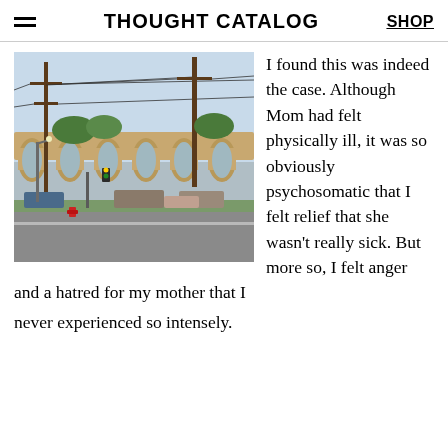THOUGHT CATALOG | SHOP
[Figure (photo): Photograph of an urban street scene with a large concrete elevated bridge/overpass, utility poles with power lines, cars on the street, and a red fire hydrant in the foreground. Blue sky visible in background.]
I found this was indeed the case. Although Mom had felt physically ill, it was so obviously psychosomatic that I felt relief that she wasn't really sick. But more so, I felt anger and a hatred for my mother that I never experienced so intensely.